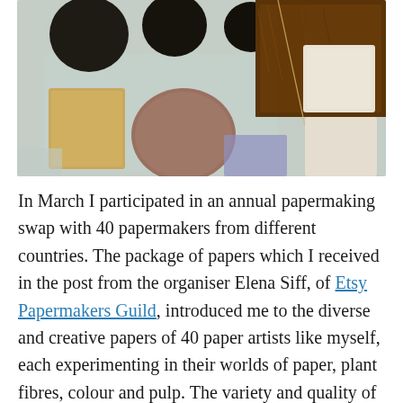[Figure (photo): Photograph showing various handmade paper samples including dark circular pieces, a tan square, a mauve/brown circle, brown fibrous material, and cream-colored squares arranged on a light background.]
In March I participated in an annual papermaking swap with 40 papermakers from different countries. The package of papers which I received in the post from the organiser Elena Siff, of Etsy Papermakers Guild, introduced me to the diverse and creative papers of 40 paper artists like myself, each experimenting in their worlds of paper, plant fibres, colour and pulp. The variety and quality of the papers was wonderful and the experience